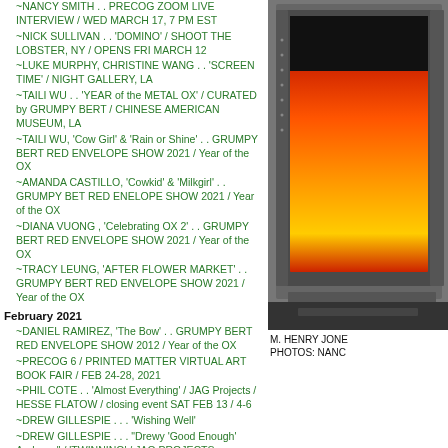~NANCY SMITH . . PRECOG ZOOM LIVE INTERVIEW / WED MARCH 17, 7 PM EST
~NICK SULLIVAN . . 'DOMINO' / SHOOT THE LOBSTER, NY / OPENS FRI MARCH 12
~LUKE MURPHY, CHRISTINE WANG . . 'SCREEN TIME' / NIGHT GALLERY, LA
~TAILI WU . . 'YEAR of the METAL OX' / CURATED by GRUMPY BERT / CHINESE AMERICAN MUSEUM, LA
~TAILI WU, 'Cow Girl' & 'Rain or Shine' . . GRUMPY BERT RED ENVELOPE SHOW 2021 / Year of the OX
~AMANDA CASTILLO, 'Cowkid' & 'Milkgirl' . . GRUMPY BET RED ENELOPE SHOW 2021 / Year of the OX
~DIANA VUONG , 'Celebrating OX 2' . . GRUMPY BERT RED ENVELOPE SHOW 2021 / Year of the OX
~TRACY LEUNG, 'AFTER FLOWER MARKET' . . GRUMPY BERT RED ENVELOPE SHOW 2021 / Year of the OX
February 2021
~DANIEL RAMIREZ, 'The Bow' . . GRUMPY BERT RED ENVELOPE SHOW 2012 / Year of the OX
~PRECOG 6 / PRINTED MATTER VIRTUAL ART BOOK FAIR / FEB 24-28, 2021
~PHIL COTE . . 'Almost Everything' / JAG Projects / HESSE FLATOW / closing event SAT FEB 13 / 4-6
~DREW GILLESPIE . . . 'Wishing Well'
~DREW GILLESPIE . . . "Drewy 'Good Enough' Andrews" / 'TWINNING' / JAG PROJECTS, MARINARO
January 2021
~JESSE GREENBERG . . is on a roll !! . . . 'A Show about Twinning'
~PHIL COTE . . . 'ABSOLUTE REALITY'
~PHIL COTE . . . 'ALMOST EVERYTHING' / CURATED BY JESSE GREENBERG / HESSE FLATOW / OPENING THURS JAN 14
~JONNY CAMPOLO . . . ON / OFF SWITCH
~PETER SUTHERLAND . . . 'PSYCHIC / TREE RINGS'
[Figure (photo): Photo of an illuminated artwork/lightbox with orange-red gradient screen, mounted on a gray panel, displayed in a gallery setting]
M. HENRY JONES PHOTOS: NANCY